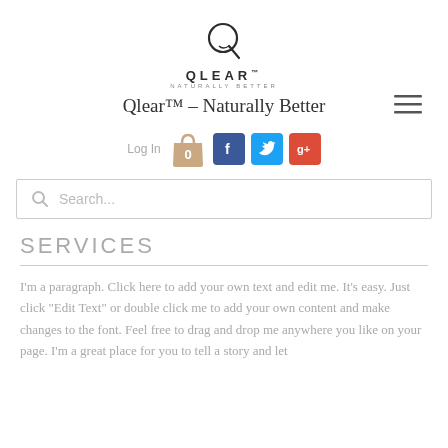[Figure (logo): Qlear logo: circular Q icon above the wordmark QLEAR with tagline NATURALLY BETTER]
Qlear™ – Naturally Better
[Figure (infographic): Hamburger menu icon (three horizontal lines), Log In text, shopping bag icon with 0, Facebook button, Twitter button, Google+ button, and search bar with Search... placeholder]
SERVICES
I'm a paragraph. Click here to add your own text and edit me. It's easy. Just click "Edit Text" or double click me to add your own content and make changes to the font. Feel free to drag and drop me anywhere you like on your page. I'm a great place for you to tell a story and let